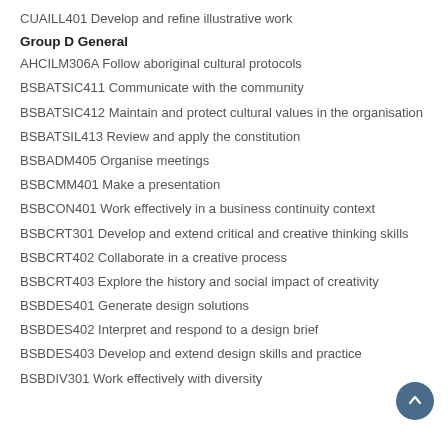CUAILL401 Develop and refine illustrative work
Group D General
AHCILM306A Follow aboriginal cultural protocols
BSBATSIC411 Communicate with the community
BSBATSIC412 Maintain and protect cultural values in the organisation
BSBATSIL413 Review and apply the constitution
BSBADM405 Organise meetings
BSBCMM401 Make a presentation
BSBCON401 Work effectively in a business continuity context
BSBCRT301 Develop and extend critical and creative thinking skills
BSBCRT402 Collaborate in a creative process
BSBCRT403 Explore the history and social impact of creativity
BSBDES401 Generate design solutions
BSBDES402 Interpret and respond to a design brief
BSBDES403 Develop and extend design skills and practice
BSBDIV301 Work effectively with diversity